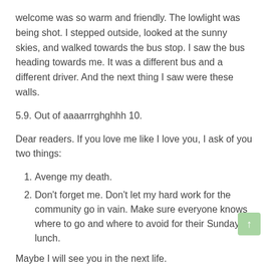welcome was so warm and friendly.  The lowlight was being shot.  I stepped outside, looked at the sunny skies, and walked towards the bus stop.  I saw the bus heading towards me.  It was a different bus and a different driver.  And the next thing I saw were these walls.
5.9.  Out of aaaarrrghghhh 10.
Dear readers.  If you love me like I love you, I ask of you two things:
Avenge my death.
Don't forget me.  Don't let my hard work for the community go in vain.  Make sure everyone knows where to go and where to avoid for their Sunday lunch.
Maybe I will see you in the next life.
Ahhh nurse, the drugs.  It's been hmmmmmmmmmmmmmmm I mmmmmmmmmmmmmm think...